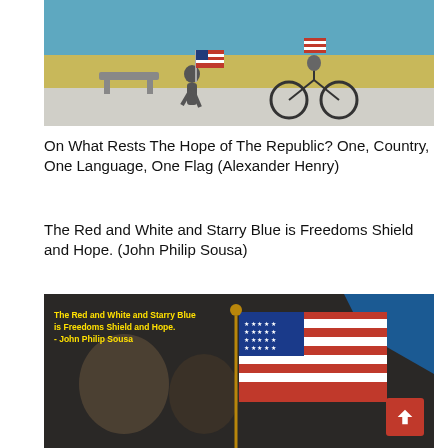[Figure (photo): A child running with an American flag and a person riding a bicycle along a seaside path on a sunny day.]
On What Rests The Hope of The Republic? One, Country, One Language, One Flag (Alexander Henry)
The Red and White and Starry Blue is Freedoms Shield and Hope. (John Philip Sousa)
[Figure (photo): An American flag in focus against a blurred background, with a yellow text overlay quoting John Philip Sousa: 'The Red and White and Starry Blue is Freedoms Shield and Hope. - John Philip Sousa'. A red back-to-top button is visible in the bottom-right corner.]